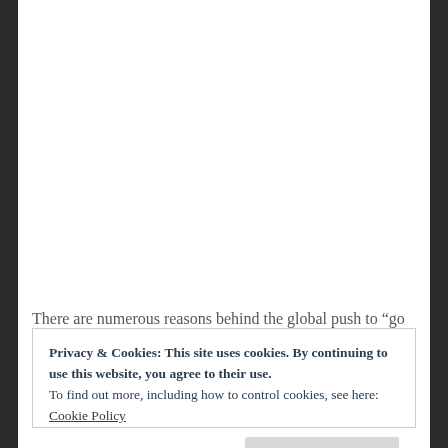There are numerous reasons behind the global push to “go
Privacy & Cookies: This site uses cookies. By continuing to use this website, you agree to their use.
To find out more, including how to control cookies, see here: Cookie Policy

Close and accept